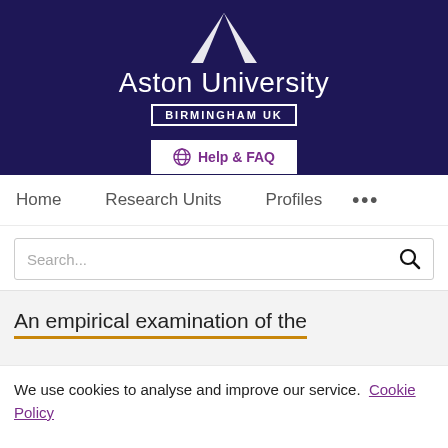[Figure (logo): Aston University logo with white triangle, text 'Aston University' and 'BIRMINGHAM UK' on dark navy background]
[Figure (screenshot): Help & FAQ button with globe icon in purple on white background]
Home   Research Units   Profiles   ...
Search...
An empirical examination of the
We use cookies to analyse and improve our service. Cookie Policy